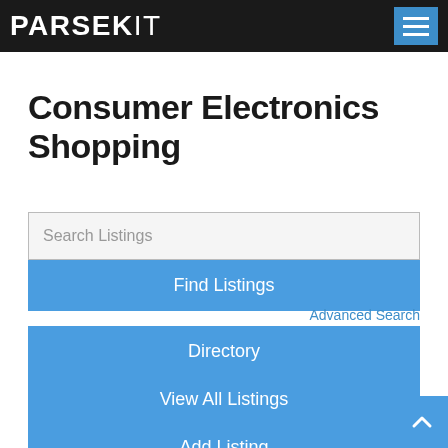PARSEKIT
Consumer Electronics Shopping
Search Listings
Find Listings
Advanced Search
Directory
View All Listings
Add Listing
Displaying listings from all locations.